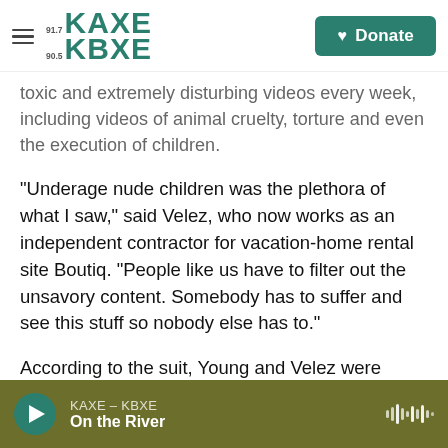KAXE KBXE 91.7 / 90.5 | Donate
toxic and extremely disturbing videos every week, including videos of animal cruelty, torture and even the execution of children.
"Underage nude children was the plethora of what I saw," said Velez, who now works as an independent contractor for vacation-home rental site Boutiq. "People like us have to filter out the unsavory content. Somebody has to suffer and see this stuff so nobody else has to."
According to the suit, Young and Velez were exposed to an unsafe work environment because TikTok did not provide adequate mental health
KAXE – KBXE | On the River